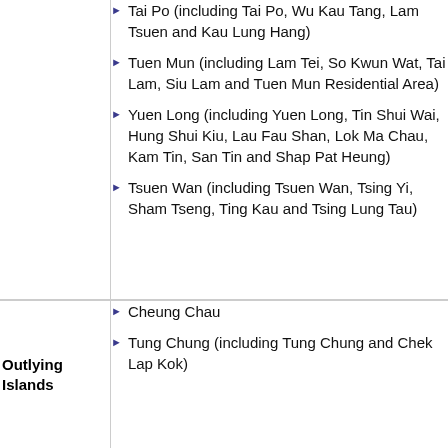Tai Po (including Tai Po, Wu Kau Tang, Lam Tsuen and Kau Lung Hang)
Tuen Mun (including Lam Tei, So Kwun Wat, Tai Lam, Siu Lam and Tuen Mun Residential Area)
Yuen Long (including Yuen Long, Tin Shui Wai, Hung Shui Kiu, Lau Fau Shan, Lok Ma Chau, Kam Tin, San Tin and Shap Pat Heung)
Tsuen Wan (including Tsuen Wan, Tsing Yi, Sham Tseng, Ting Kau and Tsing Lung Tau)
Outlying Islands
Cheung Chau
Tung Chung (including Tung Chung and Chek Lap Kok)